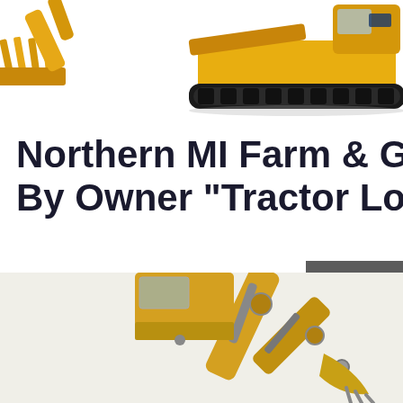[Figure (photo): Yellow excavator/construction machinery partially visible at top of page, with bucket/arm on left and tracked body on right]
Northern MI Farm & Garden - By Owner "Tractor Loader
John Deere 1023 loader tractor. $15,700 (thb > Dryden, Mi ) pic hide this posting restore restore this posting. $15,000. favorite this post Nov 16.
[Figure (other): Get a Quote button - dark grey rectangular button]
[Figure (other): Right sidebar with Chat, Email, and Contact icons on dark grey background]
[Figure (photo): Yellow excavator arm and bucket visible at bottom of page]